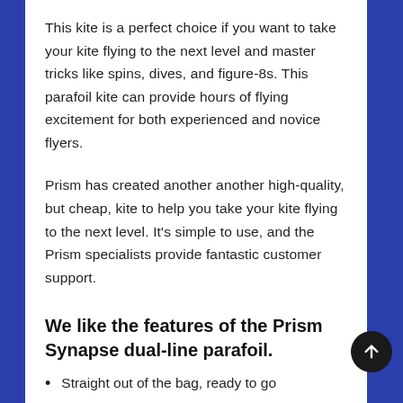This kite is a perfect choice if you want to take your kite flying to the next level and master tricks like spins, dives, and figure-8s. This parafoil kite can provide hours of flying excitement for both experienced and novice flyers.
Prism has created another another high-quality, but cheap, kite to help you take your kite flying to the next level. It's simple to use, and the Prism specialists provide fantastic customer support.
We like the features of the Prism Synapse dual-line parafoil.
Straight out of the bag, ready to go